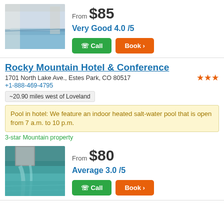[Figure (photo): Indoor hotel swimming pool with blue water and white surround]
From $85
Very Good 4.0 /5
Call
Book >
Rocky Mountain Hotel & Conference
1701 North Lake Ave., Estes Park, CO 80517
+1-888-469-4795
~20.90 miles west of Loveland
Pool in hotel: We feature an indoor heated salt-water pool that is open from 7 a.m. to 10 p.m.
3-star Mountain property
[Figure (photo): Outdoor pool with waterfall feature, blue-green water]
From $80
Average 3.0 /5
Call
Book >